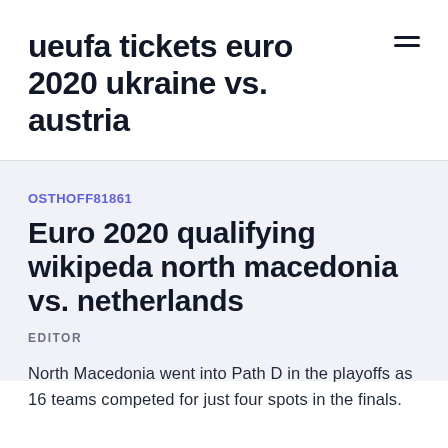ueufa tickets euro 2020 ukraine vs. austria
OSTHOFF81861
Euro 2020 qualifying wikipeda north macedonia vs. netherlands
EDITOR
North Macedonia went into Path D in the playoffs as 16 teams competed for just four spots in the finals.